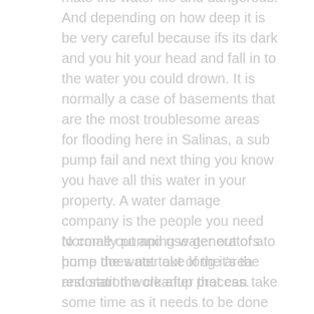mate the water life and dangerous. And depending on how deep it is be very careful because ifs its dark and you hit your head and fall in to the water you could drown. It is normally a case of basements that are the most troublesome areas for flooding here in Salinas, a sub pump fail and next thing you know you have all this water in your property. A water damage company is the people you need to come out and use generators to pump the water out of the area and start the cleanup process.
Normally pumping water out of a home does not take long it's the restoration work after that can take some time as it needs to be done properly. If the water was up to a certain level on the walls then that drywall will have to be removed and huge fans...